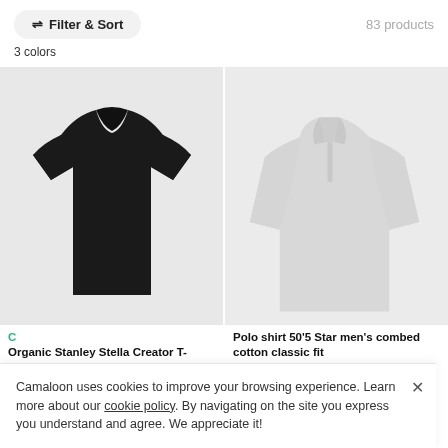Filter & Sort | 83 products
3 colors
[Figure (photo): Black crew-neck t-shirt on light grey background]
[Figure (photo): White long-sleeve polo shirt on light grey background]
Organic Stanley Stella Creator T-shirts
Polo shirt 50'5 Star men's combed cotton classic fit
Camaloon uses cookies to improve your browsing experience. Learn more about our cookie policy. By navigating on the site you express you understand and agree. We appreciate it!